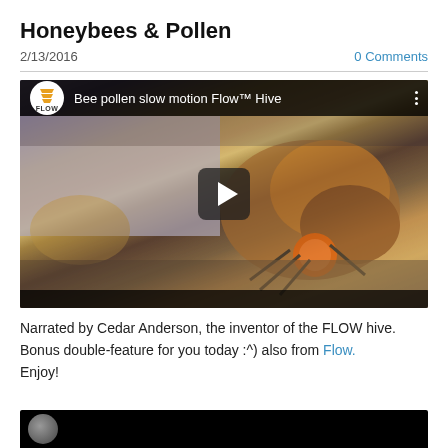Honeybees & Pollen
2/13/2016
0 Comments
[Figure (screenshot): YouTube video thumbnail showing a closeup of a honeybee carrying an orange pollen ball, with video title 'Bee pollen slow motion Flow™ Hive' and Flow logo in top bar, play button in center]
Narrated by Cedar Anderson, the inventor of the FLOW hive.
Bonus double-feature for you today :^) also from Flow.
Enjoy!
[Figure (screenshot): Bottom strip of a second video, showing dark background with a circular thumbnail element]